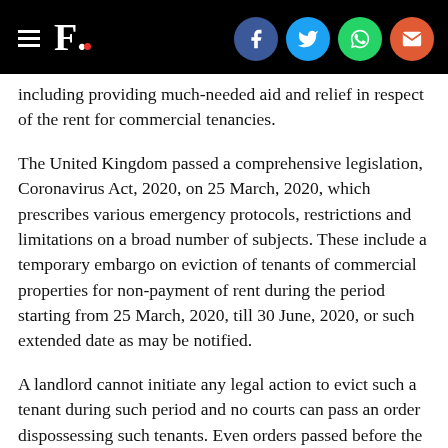F. [logo with social share icons: Facebook, Twitter, WhatsApp, Email]
including providing much-needed aid and relief in respect of the rent for commercial tenancies.
The United Kingdom passed a comprehensive legislation, Coronavirus Act, 2020, on 25 March, 2020, which prescribes various emergency protocols, restrictions and limitations on a broad number of subjects. These include a temporary embargo on eviction of tenants of commercial properties for non-payment of rent during the period starting from 25 March, 2020, till 30 June, 2020, or such extended date as may be notified.
A landlord cannot initiate any legal action to evict such a tenant during such period and no courts can pass an order dispossessing such tenants. Even orders passed before the UK Act came into force and requiring eviction during the period of lockdown, cannot be executed till such period expires. If any right to seek eviction accrued in favour of the landlord prior to the UK Act coming into force, the same can only be exercised